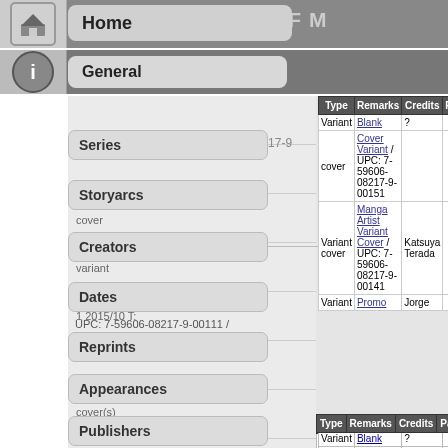Home | USE OF M
General | of M (II) (2015)
Series
7-59606-08217-9
$3.99
1
Storyarcs
Kris Anka
cover    UPC: 7-59606-08217-9-00111 /
Creators
variant
Dates
| Type | Remarks | Credits | Pages | Price |
| --- | --- | --- | --- | --- |
| Variant | Blank | ? | 1 | $3.99 |
| cover | Cover Variant / UPC: 7-59606-08217-9-00151 |  |  |  |
| Variant cover | Manga Artist Variant Cover / UPC: 7-59606-08217-9-00141 | Katsuya Terada | 1 | $3.99 |
| Variant | Promo | Jorge | 1 | $3.99 |
Reprints
Appearances
Publishers
Download
Links
Thank you